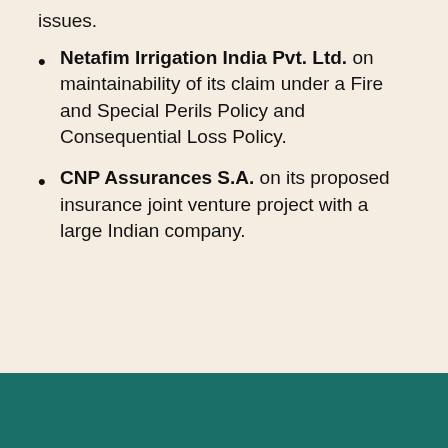issues.
Netafim Irrigation India Pvt. Ltd. on maintainability of its claim under a Fire and Special Perils Policy and Consequential Loss Policy.
CNP Assurances S.A. on its proposed insurance joint venture project with a large Indian company.